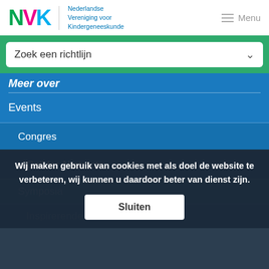NVK — Nederlandse Vereniging voor Kindergeneeskunde | Menu
Zoek een richtlijn
Meer over
Events
Congres
Call for Abstracts
Symposia
Inspirerende
Wij maken gebruik van cookies met als doel de website te verbeteren, wij kunnen u daardoor beter van dienst zijn.
Sluiten